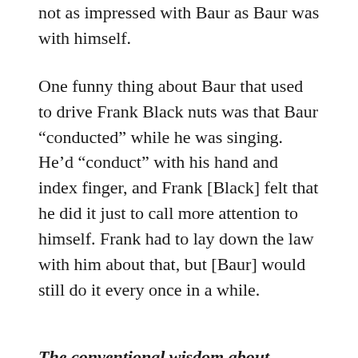not as impressed with Baur as Baur was with himself.
One funny thing about Baur that used to drive Frank Black nuts was that Baur “conducted” while he was singing. He’d “conduct” with his hand and index finger, and Frank [Black] felt that he did it just to call more attention to himself. Frank had to lay down the law with him about that, but [Baur] would still do it every once in a while.
The conventional wisdom about Franklyn Baur’s brief career was that he wanted to become an operatic tenor and performed a recital of French and Italian arias and songs at Town Hall, but received negative reviews and abruptly retired